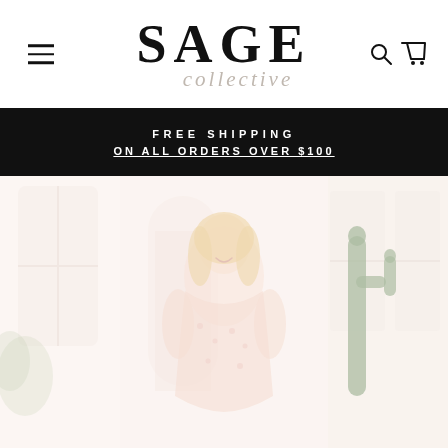SAGE collective — navigation header with hamburger menu, search, and cart icons
FREE SHIPPING
ON ALL ORDERS OVER $100
[Figure (photo): A smiling blonde woman wearing a light pink floral long-sleeve midi dress, standing indoors in a bright, airy room with large windows, arched doorway, plants, and a tall cactus.]